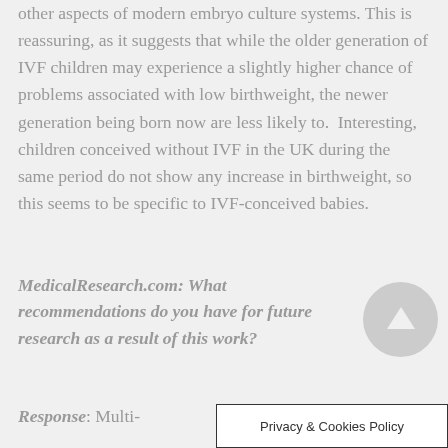other aspects of modern embryo culture systems. This is reassuring, as it suggests that while the older generation of IVF children may experience a slightly higher chance of problems associated with low birthweight, the newer generation being born now are less likely to.  Interesting, children conceived without IVF in the UK during the same period do not show any increase in birthweight, so this seems to be specific to IVF-conceived babies.
MedicalResearch.com: What recommendations do you have for future research as a result of this work?
Response: Multi-